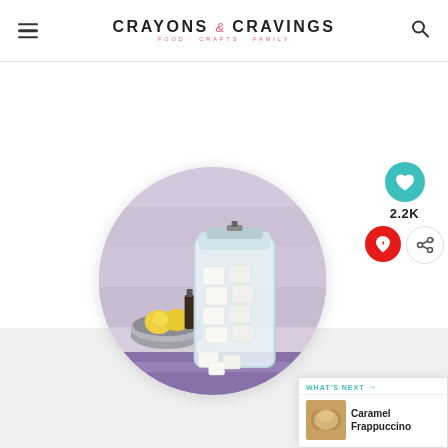CRAYONS & CRAVINGS — FOOD CRAFTS FAMILY
[Figure (photo): Circular cropped photo of a glass jar filled with white soap cubes, next to a metal bowl with lemons and essential oil bottles, on a purple cloth background with rustic wood behind.]
WHAT'S NEXT → Caramel Frappuccino